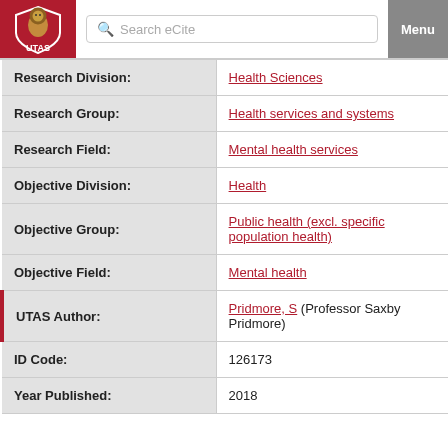Search eCite | Menu
| Field | Value |
| --- | --- |
| Research Division: | Health Sciences |
| Research Group: | Health services and systems |
| Research Field: | Mental health services |
| Objective Division: | Health |
| Objective Group: | Public health (excl. specific population health) |
| Objective Field: | Mental health |
| UTAS Author: | Pridmore, S (Professor Saxby Pridmore) |
| ID Code: | 126173 |
| Year Published: | 2018 |